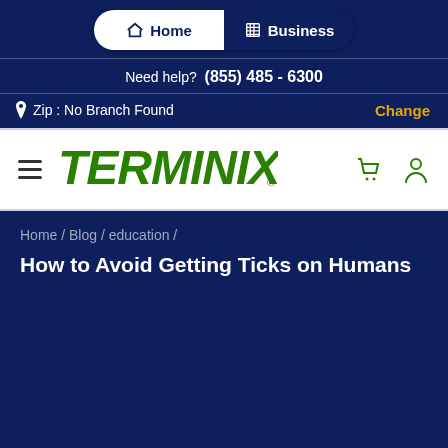[Figure (screenshot): Terminix website navigation header showing Home/Business toggle, help phone number, zip code bar, Terminix logo with hamburger menu and cart/user icons, and breadcrumb navigation with page title.]
Home   Business
Need help? (855) 485 - 6300
Zip : No Branch Found   Change
[Figure (logo): Terminix green logo]
Home / Blog / education /
How to Avoid Getting Ticks on Humans